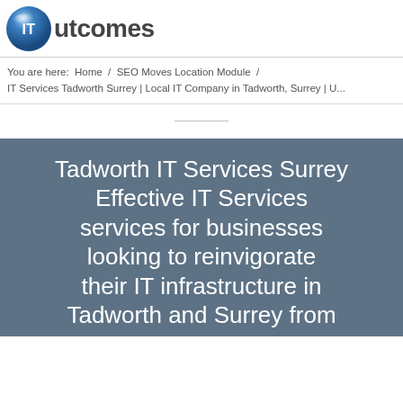[Figure (logo): IT Outcomes logo — blue glossy sphere with 'IT' text, followed by 'utcomes' in dark text]
You are here:  Home  /  SEO Moves Location Module  /  IT Services Tadworth Surrey | Local IT Company in Tadworth, Surrey | U...
Tadworth IT Services Surrey Effective IT Services services for businesses looking to reinvigorate their IT infrastructure in Tadworth and Surrey from